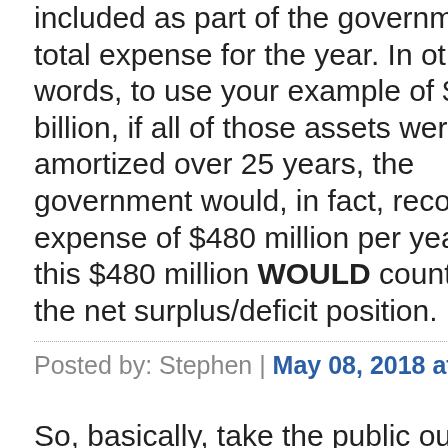included as part of the government's total expense for the year. In other words, to use your example of $12 billion, if all of those assets were amortized over 25 years, the government would, in fact, record an expense of $480 million per year; and this $480 million WOULD count towards the net surplus/deficit position.
Posted by: Stephen | May 08, 2018 at 05:08 PM
So, basically, take the public out of public policy?
Posted by: CCabb91 | May 09, 2018 at 11:38 AM